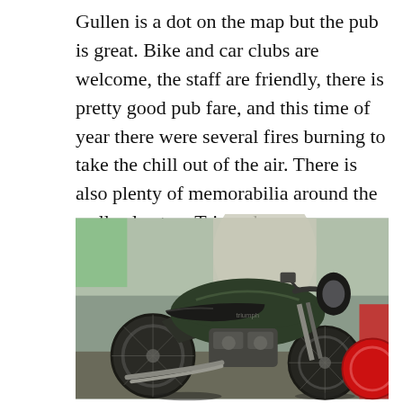Gullen is a dot on the map but the pub is great. Bike and car clubs are welcome, the staff are friendly, there is pretty good pub fare, and this time of year there were several fires burning to take the chill out of the air. There is also plenty of memorabilia around the walls plus two Triumphs — a Bonneville and a Thruxton — and a couple of pit bikes. The Trumpys are absolutely pristine and well worth the trip.
[Figure (photo): A dark green/black Triumph motorcycle (Bonneville or Thruxton), pristine condition, parked indoors. A red motorcycle is partially visible on the right side. The background shows a garage or pub storage area.]